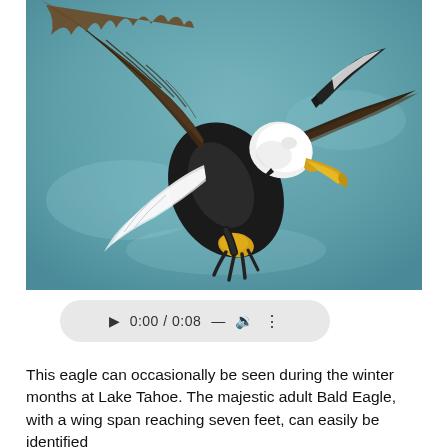[Figure (photo): A bald eagle in flight photographed against a teal/blue-grey sky background. The eagle is shown swooping downward with wings spread wide, displaying brown/dark body feathers, white head and tail, yellow beak hooked downward, and yellow talons extended. The upper wing feathers show detailed brown and dark patterning.]
[Figure (other): An audio player control bar with a play button, time display showing 0:00 / 0:08, a dash/progress indicator, a volume icon, and a three-dot menu icon. The bar has a rounded pill shape with light grey background.]
This eagle can occasionally be seen during the winter months at Lake Tahoe. The majestic adult Bald Eagle, with a wing span reaching seven feet, can easily be identified